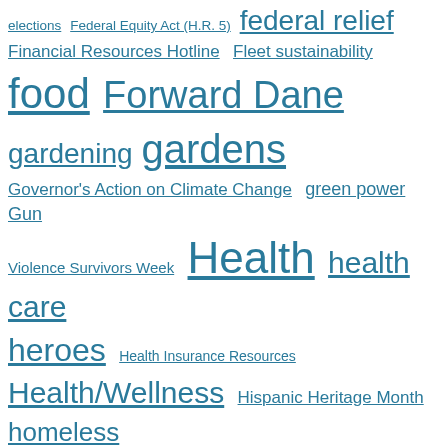elections  Federal Equity Act (H.R. 5)  federal relief  Financial Resources Hotline  Fleet sustainability  food  Forward Dane  gardening  gardens  Governor's Action on Climate Change  green power  Gun Violence Survivors Week  Health  health care  heroes  Health Insurance Resources  Health/Wellness  Hispanic Heritage Month  homeless  homelessness  Honorary #TeamCity  Honoring Rev. Dr. Martin Luther King Jr.  housing  Housing Co-ops  housing for unsheltered  Housing Forward  immigration  Inclusive workplace  Infrastructure  Internship  Internships  Juneteenth  leaf